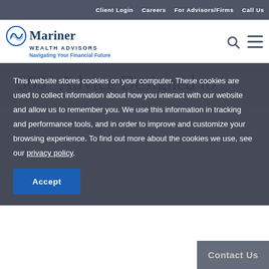Client Login  Careers  For Advisors/Firms  Call Us
[Figure (logo): Mariner Wealth Advisors logo with wave icon and tagline 'Navigating Your Financial Future']
360° Advice Designed to
This website stores cookies on your computer. These cookies are used to collect information about how you interact with our website and allow us to remember you. We use this information in tracking and performance tools, and in order to improve and customize your browsing experience. To find out more about the cookies we use, see our privacy policy.
Accept
Contact Us